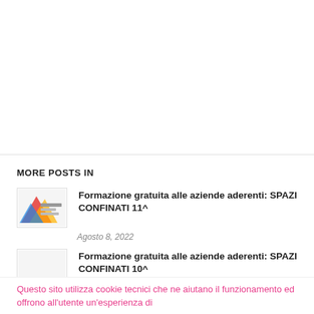MORE POSTS IN
[Figure (photo): Thumbnail image for Formazione gratuita alle aziende aderenti: SPAZI CONFINATI 11^]
Formazione gratuita alle aziende aderenti: SPAZI CONFINATI 11^
Agosto 8, 2022
[Figure (photo): Blank thumbnail image for Formazione gratuita alle aziende aderenti: SPAZI CONFINATI 10^]
Formazione gratuita alle aziende aderenti: SPAZI CONFINATI 10^
Questo sito utilizza cookie tecnici che ne aiutano il funzionamento ed offrono all'utente un'esperienza di